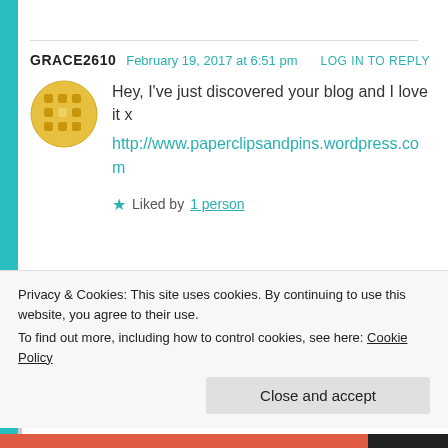GRACE2610   February 19, 2017 at 6:51 pm   LOG IN TO REPLY
Hey, I've just discovered your blog and I love it x
http://www.paperclipsandpins.wordpress.com
★ Liked by 1 person
FLAWEDSILENCE   February 24, 2017 at 8:19 pm   LOG IN TO REPLY
Privacy & Cookies: This site uses cookies. By continuing to use this website, you agree to their use.
To find out more, including how to control cookies, see here: Cookie Policy
Close and accept